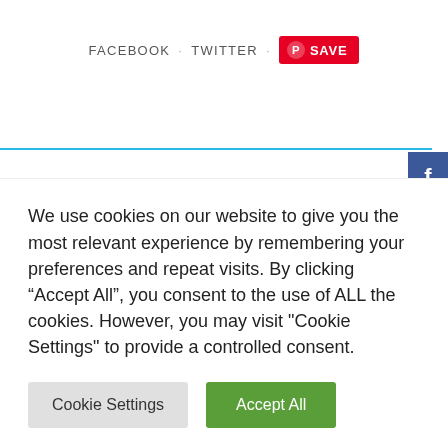FACEBOOK · TWITTER · SAVE
< PREVIOUS POST
We use cookies on our website to give you the most relevant experience by remembering your preferences and repeat visits. By clicking “Accept All”, you consent to the use of ALL the cookies. However, you may visit "Cookie Settings" to provide a controlled consent.
Cookie Settings
Accept All